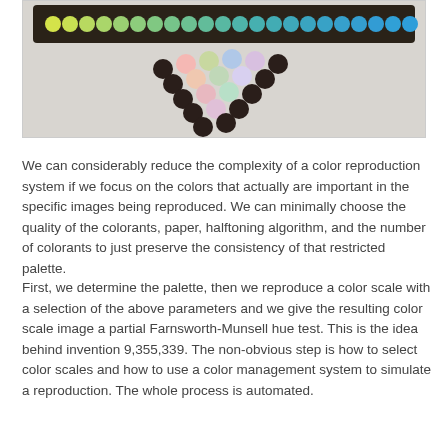[Figure (photo): Photo of a Farnsworth-Munsell hue test kit: a long dark strip with colored circular caps arranged in a row at the top, and approximately 20 small colored circular caps arranged in a loose cluster below it, on a light grey surface.]
We can considerably reduce the complexity of a color reproduction system if we focus on the colors that actually are important in the specific images being reproduced. We can minimally choose the quality of the colorants, paper, halftoning algorithm, and the number of colorants to just preserve the consistency of that restricted palette.
First, we determine the palette, then we reproduce a color scale with a selection of the above parameters and we give the resulting color scale image a partial Farnsworth-Munsell hue test. This is the idea behind invention 9,355,339. The non-obvious step is how to select color scales and how to use a color management system to simulate a reproduction. The whole process is automated.